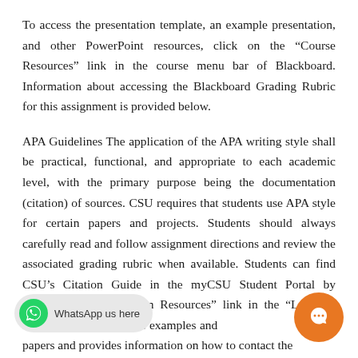To access the presentation template, an example presentation, and other PowerPoint resources, click on the “Course Resources” link in the course menu bar of Blackboard. Information about accessing the Blackboard Grading Rubric for this assignment is provided below.
APA Guidelines The application of the APA writing style shall be practical, functional, and appropriate to each academic level, with the primary purpose being the documentation (citation) of sources. CSU requires that students use APA style for certain papers and projects. Students should always carefully read and follow assignment directions and review the associated grading rubric when available. Students can find CSU’s Citation Guide in the myCSU Student Portal by clicking on the “Citation Resources” link in the “Learning Res… that includes examples and … papers and provides information on how to contact the